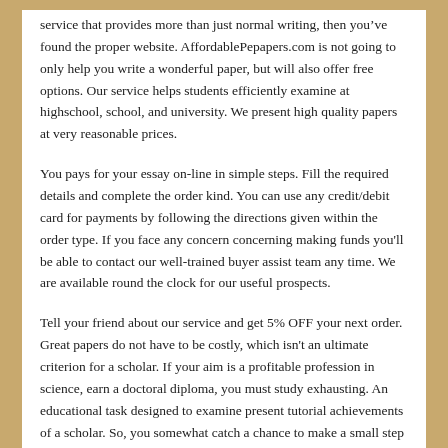service that provides more than just normal writing, then you've found the proper website. AffordablePepapers.com is not going to only help you write a wonderful paper, but will also offer free options. Our service helps students efficiently examine at highschool, school, and university. We present high quality papers at very reasonable prices.
You pays for your essay on-line in simple steps. Fill the required details and complete the order kind. You can use any credit/debit card for payments by following the directions given within the order type. If you face any concern concerning making funds you'll be able to contact our well-trained buyer assist team any time. We are available round the clock for our useful prospects.
Tell your friend about our service and get 5% OFF your next order. Great papers do not have to be costly, which isn't an ultimate criterion for a scholar. If your aim is a profitable profession in science, earn a doctoral diploma, you must study exhausting. An educational task designed to examine present tutorial achievements of a scholar. So, you somewhat catch a chance to make a small step ahead in direction of your dream degree.